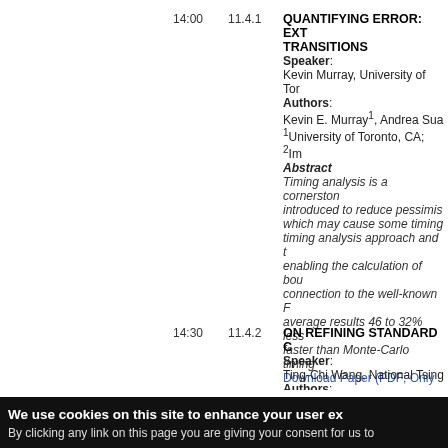14:00 | 11.4.1 | QUANTIFYING ERROR: EXT... TRANSITIONS
Speaker: Kevin Murray, University of Tor...
Authors: Kevin E. Murray¹, Andrea Sua...
¹University of Toronto, CA; ²Im...
Abstract: Timing analysis is a cornerston... introduced to reduce pessimis... which may cause some timing... timing analysis approach and t... enabling the calculation of bou... connection to the well-known F... average results 46 to 32% less... faster than Monte-Carlo timing...
Download Paper (PDF; Only a...
14:30 | 11.4.2 | ON REFINING STANDARD C...
Speaker: Ting-Chi Wang, National Tsing...
Authors: Ye-Hong Chen, Sheng-He Wa...
Abstract...
We use cookies on this site to enhance your user ex...
By clicking any link on this page you are giving your consent for us to...